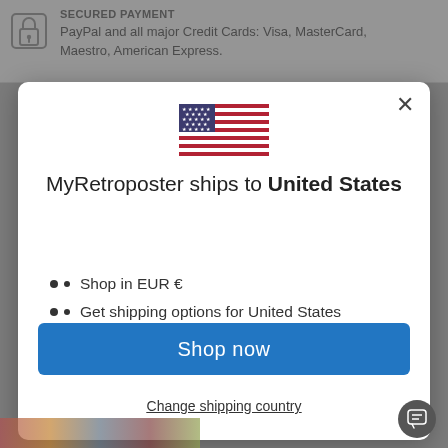[Figure (screenshot): Screenshot of a webpage showing a SECURED PAYMENT section with PayPal and major credit cards listed, partially visible behind a modal dialog.]
SECURED PAYMENT
PayPal and all major Credit Cards: Visa, MasterCard, Maestro, American Express.
[Figure (illustration): US flag icon displayed at the top of the modal dialog.]
MyRetroposter ships to United States
Shop in EUR €
Get shipping options for United States
Shop now
Change shipping country